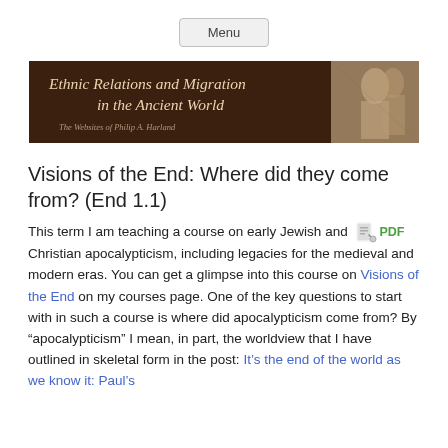Menu
[Figure (illustration): Banner image with dark brown background showing italic text 'Ethnic Relations and Migration in the Ancient World' with subtitle 'The Websites of Philip A. Harland' and a relief sculpture image on the right]
Visions of the End: Where did they come from? (End 1.1)
This term I am teaching a course on early Jewish and Christian apocalypticism, including legacies for the medieval and modern eras. You can get a glimpse into this course on Visions of the End on my courses page. One of the key questions to start with in such a course is where did apocalypticism come from? By “apocalypticism” I mean, in part, the worldview that I have outlined in skeletal form in the post: It’s the end of the world as we know it: Paul’s